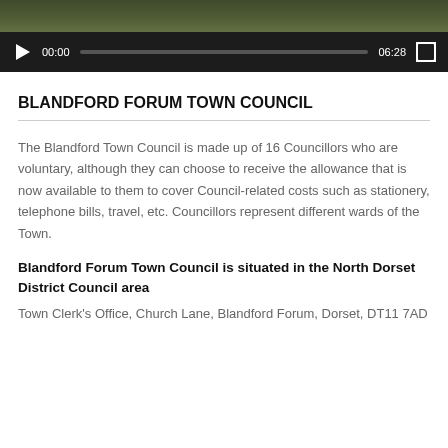[Figure (screenshot): Video player with dark background showing a nature scene. Controls include play button, time 00:00, progress bar, duration 06:28, and fullscreen button.]
BLANDFORD FORUM TOWN COUNCIL
The Blandford Town Council is made up of 16 Councillors who are voluntary, although they can choose to receive the allowance that is now available to them to cover Council-related costs such as stationery, telephone bills, travel, etc. Councillors represent different wards of the Town.
Blandford Forum Town Council is situated in the North Dorset District Council area
Town Clerk's Office, Church Lane, Blandford Forum, Dorset, DT11 7AD